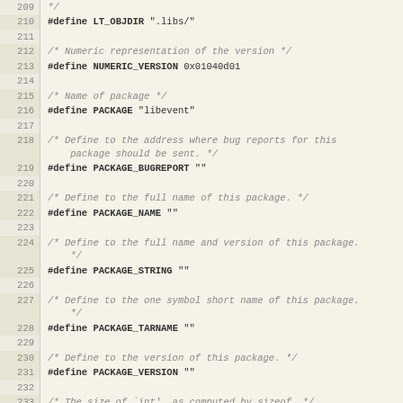Source code listing lines 209-239, C header file defines for libevent package configuration
Line 210: #define LT_OBJDIR ".libs/"
Line 212: /* Numeric representation of the version */
Line 213: #define NUMERIC_VERSION 0x01040d01
Line 215: /* Name of package */
Line 216: #define PACKAGE "libevent"
Line 218-218: /* Define to the address where bug reports for this package should be sent. */
Line 219: #define PACKAGE_BUGREPORT ""
Line 221: /* Define to the full name of this package. */
Line 222: #define PACKAGE_NAME ""
Line 224: /* Define to the full name and version of this package. */
Line 225: #define PACKAGE_STRING ""
Line 227: /* Define to the one symbol short name of this package. */
Line 228: #define PACKAGE_TARNAME ""
Line 230: /* Define to the version of this package. */
Line 231: #define PACKAGE_VERSION ""
Line 233: /* The size of 'int', as computed by sizeof. */
Line 234: #define SIZEOF_INT 4
Line 236: /* The size of 'long', as computed by sizeof. */
Line 237: #define SIZEOF_LONG 4
Line 239: /* The size of 'long long', as computed by sizeof. */